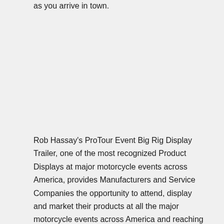as you arrive in town.
Rob Hassay's ProTour Event Big Rig Display Trailer, one of the most recognized Product Displays at major motorcycle events across America, provides Manufacturers and Service Companies the opportunity to attend, display and market their products at all the major motorcycle events across America and reaching